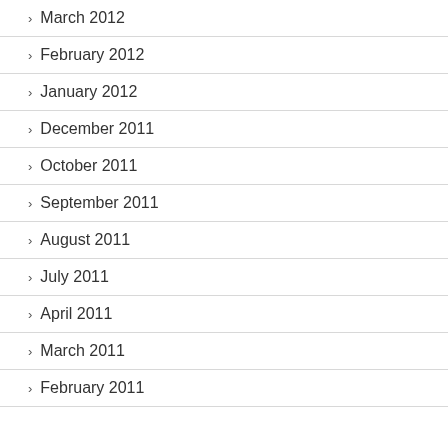March 2012
February 2012
January 2012
December 2011
October 2011
September 2011
August 2011
July 2011
April 2011
March 2011
February 2011